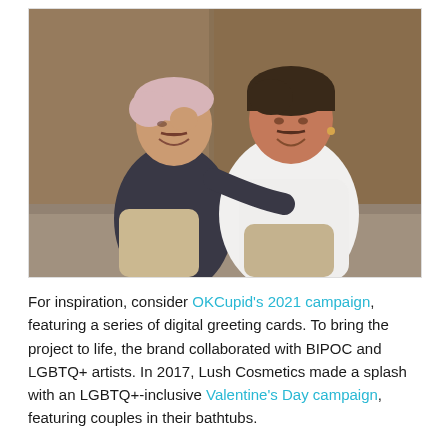[Figure (photo): Two smiling men sitting together outdoors against a wooden wall background. One has short pinkish hair and is wearing a dark shirt; the other has dark hair and is wearing a white sleeveless shirt.]
For inspiration, consider OKCupid's 2021 campaign, featuring a series of digital greeting cards. To bring the project to life, the brand collaborated with BIPOC and LGBTQ+ artists. In 2017, Lush Cosmetics made a splash with an LGBTQ+-inclusive Valentine's Day campaign, featuring couples in their bathtubs.